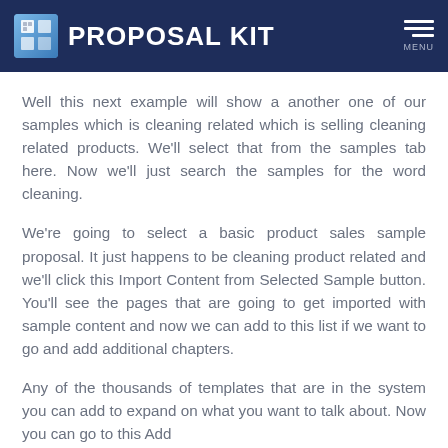Proposal Kit
Well this next example will show a another one of our samples which is cleaning related which is selling cleaning related products. We'll select that from the samples tab here. Now we'll just search the samples for the word cleaning.
We're going to select a basic product sales sample proposal. It just happens to be cleaning product related and we'll click this Import Content from Selected Sample button. You'll see the pages that are going to get imported with sample content and now we can add to this list if we want to go and add additional chapters.
Any of the thousands of templates that are in the system you can add to expand on what you want to talk about. Now you can go to this Add